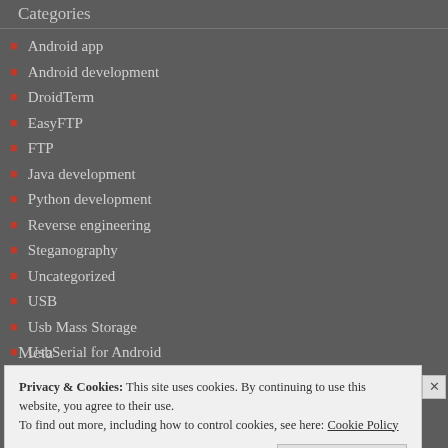Categories
Android app
Android development
DroidTerm
EasyFTP
FTP
Java development
Python development
Reverse engineering
Steganography
Uncategorized
USB
Usb Mass Storage
UsbSerial for Android
Meta
Privacy & Cookies: This site uses cookies. By continuing to use this website, you agree to their use. To find out more, including how to control cookies, see here: Cookie Policy